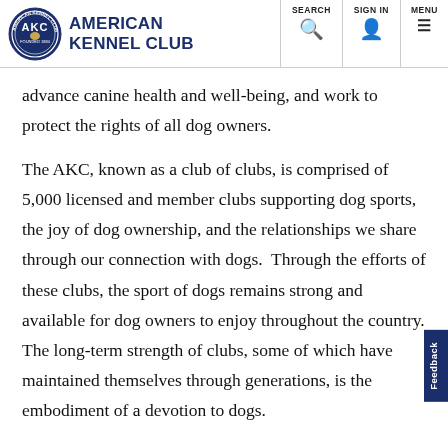American Kennel Club | SEARCH | SIGN IN | MENU
advance canine health and well-being, and work to protect the rights of all dog owners.
The AKC, known as a club of clubs, is comprised of 5,000 licensed and member clubs supporting dog sports, the joy of dog ownership, and the relationships we share through our connection with dogs.  Through the efforts of these clubs, the sport of dogs remains strong and available for dog owners to enjoy throughout the country. The long-term strength of clubs, some of which have maintained themselves through generations, is the embodiment of a devotion to dogs.